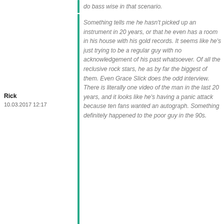do bass wise in that scenario.
Something tells me he hasn't picked up an instrument in 20 years, or that he even has a room in his house with his gold records. It seems like he's just trying to be a regular guy with no acknowledgement of his past whatsoever. Of all the reclusive rock stars, he as by far the biggest of them. Even Grace Slick does the odd interview. There is literally one video of the man in the last 20 years, and it looks like he's having a panic attack because ten fans wanted an autograph. Something definitely happened to the poor guy in the 90s.
Mark Hollis of Talk Talk is another one. Such a shame (pun intended).
Rick
10.03.2017 12:17
Viper
12.03.2017 05:47
thx!